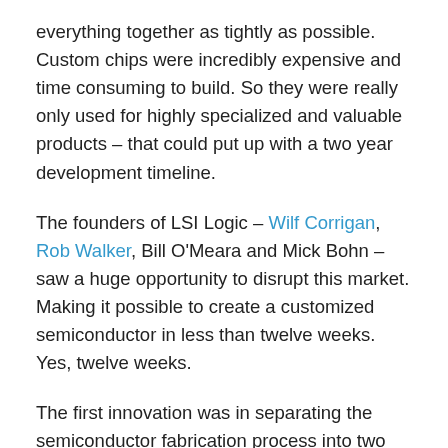everything together as tightly as possible. Custom chips were incredibly expensive and time consuming to build. So they were really only used for highly specialized and valuable products – that could put up with a two year development timeline.
The founders of LSI Logic – Wilf Corrigan, Rob Walker, Bill O'Meara and Mick Bohn – saw a huge opportunity to disrupt this market. Making it possible to create a customized semiconductor in less than twelve weeks. Yes, twelve weeks.
The first innovation was in separating the semiconductor fabrication process into two parts – creating a standardized substrate and then a customized metalization layer on top of that. Rather than starting with raw silicon, LSI started with a large array of transistor